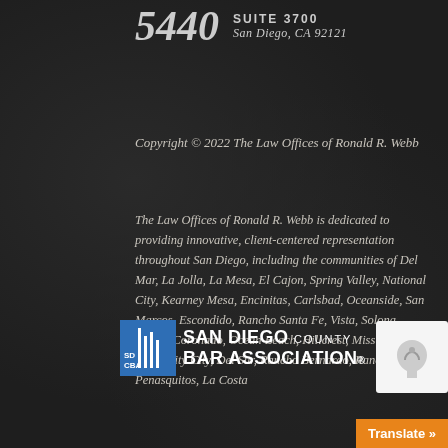5440 SUITE 3700 San Diego, CA 92121
Copyright © 2022 The Law Offices of Ronald R. Webb
The Law Offices of Ronald R. Webb is dedicated to providing innovative, client-centered representation throughout San Diego, including the communities of Del Mar, La Jolla, La Mesa, El Cajon, Spring Valley, National City, Kearney Mesa, Encinitas, Carlsbad, Oceanside, San Marcos, Escondido, Rancho Santa Fe, Vista, Solona Beach, Coronado, Ocean Beach, Hillcrest, Mission Valley, University City, Del Sur, Rancho Bernardo, Rancho Penasquitos, La Costa
[Figure (logo): San Diego County Bar Association logo with SD CBA text and building icon]
Translate »